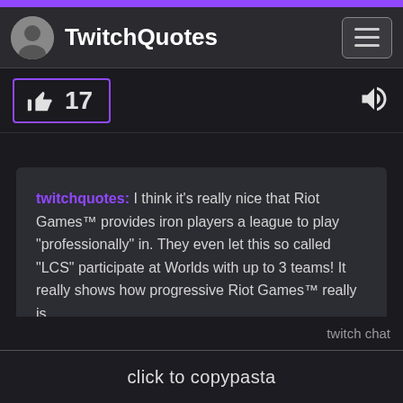TwitchQuotes
[Figure (other): Thumbs up like icon with count 17, bordered in purple; volume icon on right]
twitchquotes: I think it's really nice that Riot Games™ provides iron players a league to play "professionally" in. They even let this so called "LCS" participate at Worlds with up to 3 teams! It really shows how progressive Riot Games™ really is.
twitch chat
click to copypasta